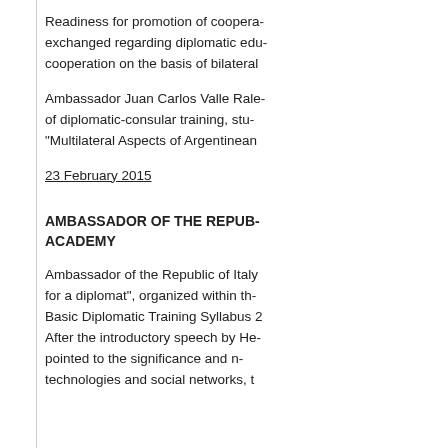Readiness for promotion of cooperation exchanged regarding diplomatic education cooperation on the basis of bilateral
Ambassador Juan Carlos Valle Raleigh of diplomatic-consular training, "Multilateral Aspects of Argentinean
23 February 2015
AMBASSADOR OF THE REPUBLIC ACADEMY
Ambassador of the Republic of Italy for a diplomat", organized within the Basic Diplomatic Training Syllabus 2 After the introductory speech by He pointed to the significance and technologies and social networks, t